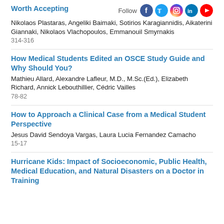Worth Accepting
Nikolaos Plastaras, Angeliki Baimaki, Sotirios Karagiannidis, Aikaterini Giannaki, Nikolaos Vlachopoulos, Emmanouil Smyrnakis
314-316
How Medical Students Edited an OSCE Study Guide and Why Should You?
Mathieu Allard, Alexandre Lafleur, M.D., M.Sc.(Ed.), Elizabeth Richard, Annick Lebouthillier, Cédric Vailles
78-82
How to Approach a Clinical Case from a Medical Student Perspective
Jesus David Sendoya Vargas, Laura Lucia Fernandez Camacho
15-17
Hurricane Kids: Impact of Socioeconomic, Public Health, Medical Education, and Natural Disasters on a Doctor in Training